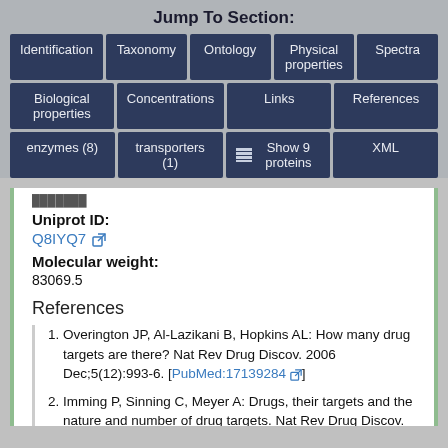Jump To Section:
Identification
Taxonomy
Ontology
Physical properties
Spectra
Biological properties
Concentrations
Links
References
enzymes (8)
transporters (1)
Show 9 proteins
XML
Uniprot ID:
Q8IYQ7
Molecular weight:
83069.5
References
Overington JP, Al-Lazikani B, Hopkins AL: How many drug targets are there? Nat Rev Drug Discov. 2006 Dec;5(12):993-6. [PubMed:17139284]
Imming P, Sinning C, Meyer A: Drugs, their targets and the nature and number of drug targets. Nat Rev Drug Discov. 2006 Oct;5(10):821-34. [PubMed:17016423]